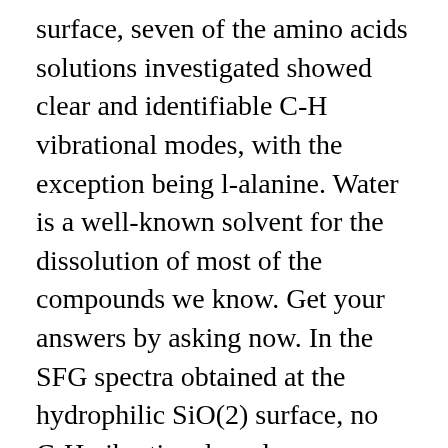surface, seven of the amino acids solutions investigated showed clear and identifiable C-H vibrational modes, with the exception being l-alanine. Water is a well-known solvent for the dissolution of most of the compounds we know. Get your answers by asking now. In the SFG spectra obtained at the hydrophilic SiO(2) surface, no C-H vibrational modes were observed from any of the amino acids studied. A near universal finding is that the oxygen plasma treatment initially brings the contact angle to very hydrophilic values, after which a rapid and nearly complete hydrophobic recovery takes place for dry stored samples. Hydrophobic coats Monomer: e.g. These hydrophilic groups generally contain oxygen